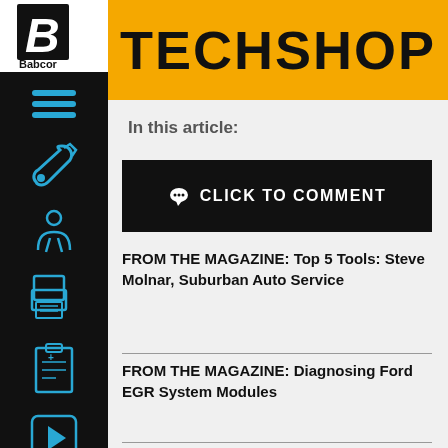TECHSHOP
In this article:
CLICK TO COMMENT
FROM THE MAGAZINE: Top 5 Tools: Steve Molnar, Suburban Auto Service
FROM THE MAGAZINE: Diagnosing Ford EGR System Modules